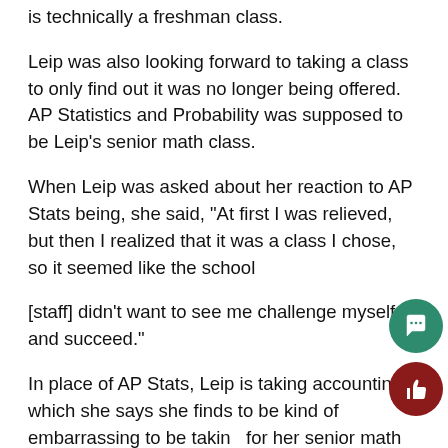is technically a freshman class.
Leip was also looking forward to taking a class to only find out it was no longer being offered. AP Statistics and Probability was supposed to be Leip’s senior math class.
When Leip was asked about her reaction to AP Stats being, she said, “At first I was relieved, but then I realized that it was a class I chose, so it seemed like the school
[staff] didn’t want to see me challenge myself and succeed.”
In place of AP Stats, Leip is taking accounting, which she says she finds to be kind of embarrassing to be taking for her senior math credit. On top of that, Leip did not even choose to be in accounting. Leip also said that if Norrix would have informed her earlier on about the class, she would have been able to make better